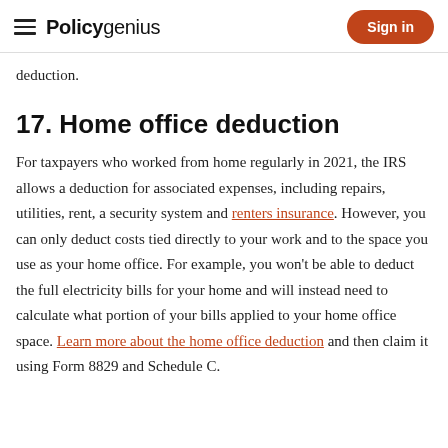Policygenius | Sign in
deduction.
17. Home office deduction
For taxpayers who worked from home regularly in 2021, the IRS allows a deduction for associated expenses, including repairs, utilities, rent, a security system and renters insurance. However, you can only deduct costs tied directly to your work and to the space you use as your home office. For example, you won't be able to deduct the full electricity bills for your home and will instead need to calculate what portion of your bills applied to your home office space. Learn more about the home office deduction and then claim it using Form 8829 and Schedule C.